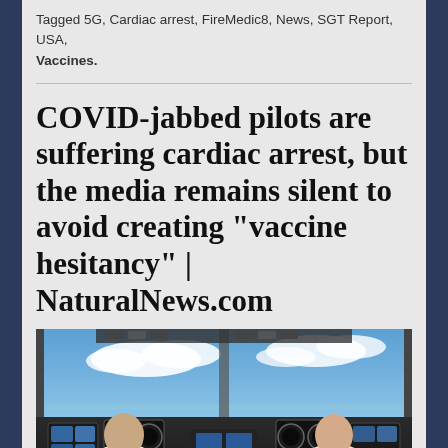Tagged 5G, Cardiac arrest, FireMedic8, News, SGT Report, USA, Vaccines.
COVID-jabbed pilots are suffering cardiac arrest, but the media remains silent to avoid creating “vaccine hesitancy” | NaturalNews.com
[Figure (photo): Two pilots viewed from behind sitting in an aircraft cockpit with instrument panels and a blue sky with clouds visible through the windshield]